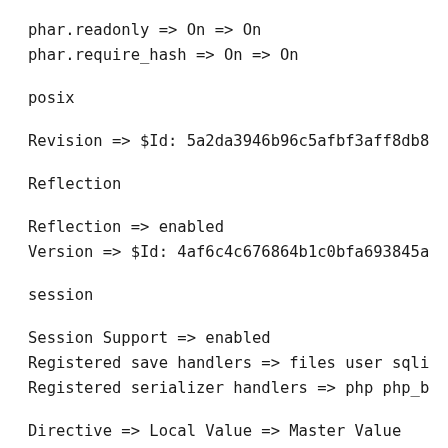phar.readonly => On => On
phar.require_hash => On => On
posix
Revision => $Id: 5a2da3946b96c5afbf3aff8db8
Reflection
Reflection => enabled
Version => $Id: 4af6c4c676864b1c0bfa693845a
session
Session Support => enabled
Registered save handlers => files user sqli
Registered serializer handlers => php php_b
Directive => Local Value => Master Value